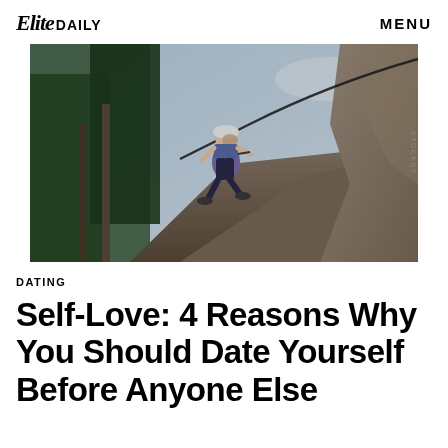Elite DAILY   MENU
[Figure (photo): Woman in athletic wear (blue sports bra and leggings) trail running or climbing on a rocky mountain path with trees and sky in background]
DATING
Self-Love: 4 Reasons Why You Should Date Yourself Before Anyone Else